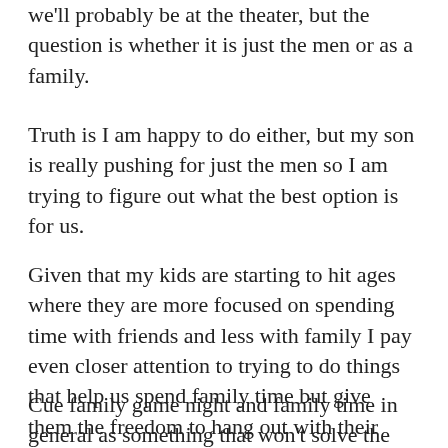we'll probably be at the theater, but the question is whether it is just the men or as a family.
Truth is I am happy to do either, but my son is really pushing for just the men so I am trying to figure out what the best option is for us.
Given that my kids are starting to hit ages where they are more focused on spending time with friends and less with family I pay even closer attention to trying to do things that help us spend family time but give them the freedom to hang out with their friends.
Cue family game night and family time in general as something that won't solve the problem but